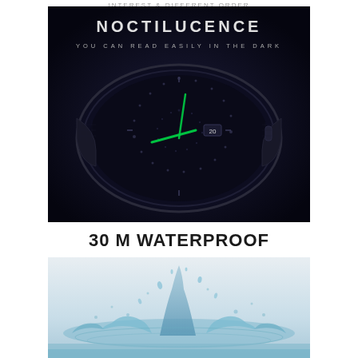INTEREST & DIFFERENT ORDER
NOCTILUCENCE
YOU CAN READ EASILY IN THE DARK
[Figure (photo): Close-up of a dark watch face in the dark showing glowing green hands/markers on a black mesh-band watch]
30 M WATERPROOF
[Figure (photo): Water splash photography on light grey/white background showing water droplets and splashes]